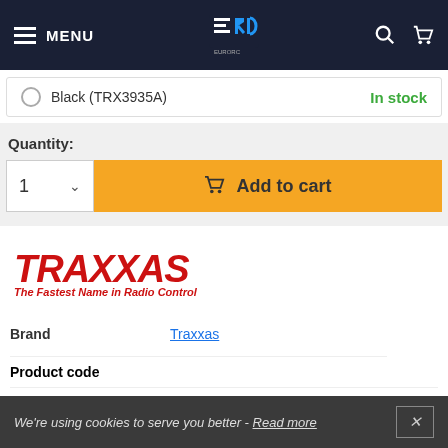[Figure (screenshot): EuroRC website navigation header with hamburger menu, MENU text, EuroRC logo, search and cart icons on dark navy background]
Black (TRX3935A)    In stock
Quantity:
1    Add to cart
[Figure (logo): Traxxas logo - red stylized text with The Fastest Name in Radio Control tagline]
|  |  |
| --- | --- |
| Brand | Traxxas |
| Product code |  |
| VAT | 21% |
Best RC products
We're using cookies to serve you better - Read more